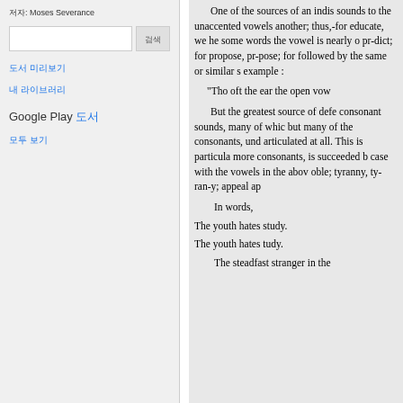저자: Moses Severance
[search input and button]
도서 미리보기
내 라이브러리
Google Play 도서
모두 보기
One of the sources of an indis sounds to the unaccented vowels another; thus,-for educate, we he some words the vowel is nearly o pr-dict; for propose, pr-pose; for followed by the same or similar s example : "Tho oft the ear the open vow But the greatest source of defe consonant sounds, many of whic but many of the consonants, und articulated at all. This is particula more consonants, is succeeded b case with the vowels in the abov oble; tyranny, ty-ran-y; appeal ap In words, The youth hates study. The youth hates tudy. The steadfast stranger in the